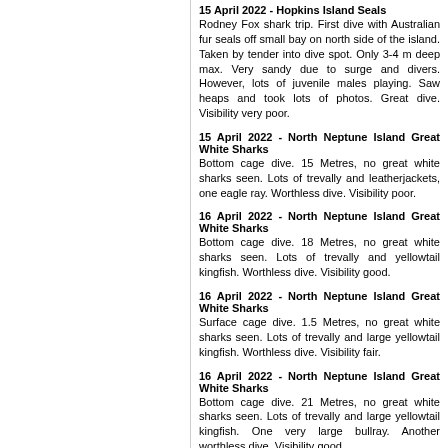15 April 2022 - Hopkins Island Seals
Rodney Fox shark trip. First dive with Australian fur seals off small bay on north side of the island. Taken by tender into dive spot. Only 3-4 m deep max. Very sandy due to surge and divers. However, lots of juvenile males playing. Saw heaps and took lots of photos. Great dive. Visibility very poor.
15 April 2022 - North Neptune Island Great White Sharks
Bottom cage dive. 15 Metres, no great white sharks seen. Lots of trevally and leatherjackets, one eagle ray. Worthless dive. Visibility poor.
16 April 2022 - North Neptune Island Great White Sharks
Bottom cage dive. 18 Metres, no great white sharks seen. Lots of trevally and yellowtail kingfish. Worthless dive. Visibility good.
16 April 2022 - North Neptune Island Great White Sharks
Surface cage dive. 1.5 Metres, no great white sharks seen. Lots of trevally and large yellowtail kingfish. Worthless dive. Visibility fair.
16 April 2022 - North Neptune Island Great White Sharks
Bottom cage dive. 21 Metres, no great white sharks seen. Lots of trevally and large yellowtail kingfish. One very large bullray. Another worthless dive. Visibility good.
Next 3 dives in Nelson Bay/Port Stephens
30 April 2022 - Fly Point
Still very average in Sydney. Up here for Shelley and John's birthdays. Went NE from entry and then went W more and to 22.7m. First time this deep for ages, little current. 16m